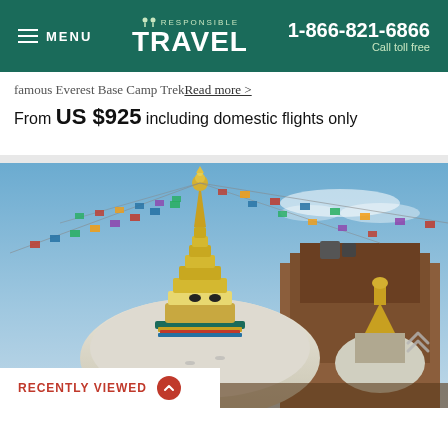MENU | RESPONSIBLE TRAVEL | 1-866-821-6866 Call toll free
famous Everest Base Camp Trek Read more >
From US $925 including domestic flights only
[Figure (photo): A Buddhist stupa (Swayambhunath temple) in Nepal with golden spire and colorful prayer flags against a blue sky, with brick buildings in the background]
RECENTLY VIEWED